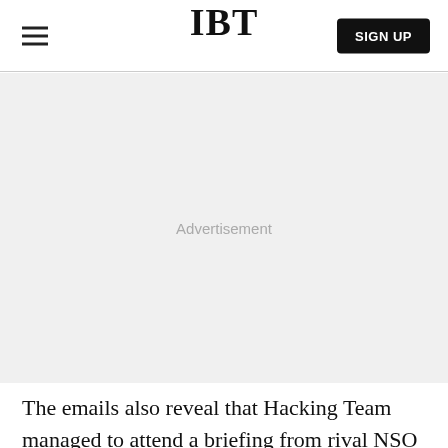IBT
[Figure (other): Advertisement placeholder area with light gray background]
The emails also reveal that Hacking Team managed to attend a briefing from rival NSO Group in 2014,